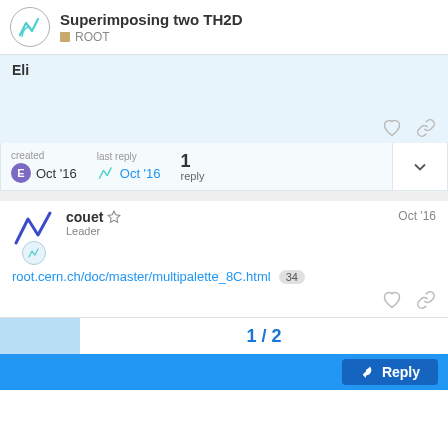Superimposing two TH2D ROOT
Eli
created Oct '16  last reply Oct '16  1 reply
couet Leader Oct '16
root.cern.ch/doc/master/multipalette_8C.html 34
1 / 2
Reply